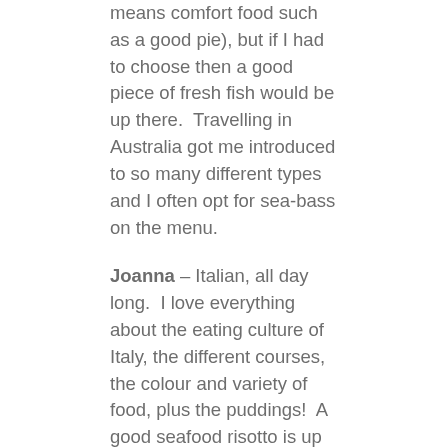means comfort food such as a good pie), but if I had to choose then a good piece of fresh fish would be up there.  Travelling in Australia got me introduced to so many different types and I often opt for sea-bass on the menu.
Joanna – Italian, all day long.  I love everything about the eating culture of Italy, the different courses, the colour and variety of food, plus the puddings!  A good seafood risotto is up there, and when we went to Sardinia a few years ago I really indulged in so many regional dishes.
Causes Close to our Hearts
[Figure (other): White rectangular box at bottom of blue-grey section, partially visible]